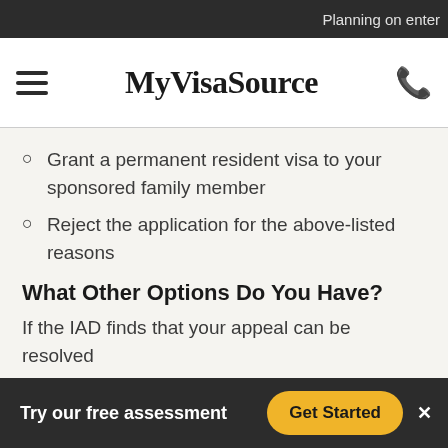Planning on enter
MyVisaSource
Grant a permanent resident visa to your sponsored family member
Reject the application for the above-listed reasons
What Other Options Do You Have?
If the IAD finds that your appeal can be resolved
Try our free assessment
Get Started